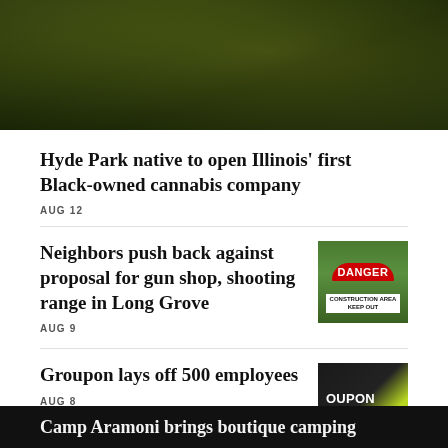[Figure (photo): Photo of people in yellow-green clothing, partially visible, dark background]
Hyde Park native to open Illinois' first Black-owned cannabis company
AUG 12
Neighbors push back against proposal for gun shop, shooting range in Long Grove
AUG 9
[Figure (photo): Photo of a Danger Construction Area Keep Out sign next to a green fence]
Groupon lays off 500 employees
AUG 8
[Figure (photo): Photo of Groupon sign with green and black design]
Camp Aramoni brings boutique camping